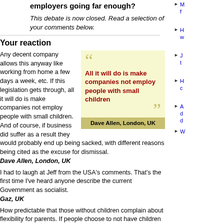employers going far enough?
This debate is now closed. Read a selection of your comments below.
Your reaction
Any decent company allows this anyway like working from home a few days a week, etc. If this legislation gets through, all it will do is make companies not employ people with small children. And of course, if business did suffer as a result they would probably end up being sacked, with different reasons being cited as the excuse for dismissal.
Dave Allen, London, UK
I had to laugh at Jeff from the USA's comments. That's the first time I've heard anyone describe the current Government as socialist.
Gaz, UK
How predictable that those without children complain about flexibility for parents. If people choose to not have children that's ok but they should not complain when they are old that there are not nurses or taxpayers to take care of them due to a declining